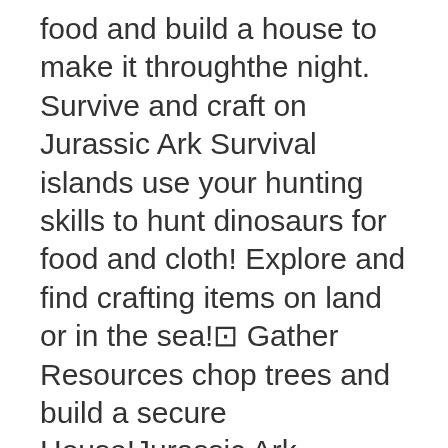food and build a house to make it throughthe night. Survive and craft on Jurassic Ark Survival islands use your hunting skills to hunt dinosaurs for food and cloth! Explore and find crafting items on land or in the sea!⊡ Gather Resources chop trees and build a secure House!Jurassic Ark Survival: Game Features.- Building, Construction- Survive Simulator - Craft animal fish traps be a trapper- Craft hundreds of items weapons- Explore large forest, island, ocean - Hunt in the wilderness- Set animal Traps- Mine resources - Build many shelters Bases houses- Explore Massive island and ocean swim underwater find loot- Find hidden camps, underground caves- 4 Season Weather /Sun, Rain, Snow, Wind- Day / Night Cycle- Changing